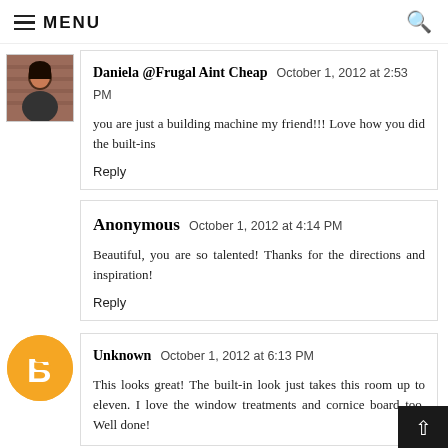MENU
Daniela @Frugal Aint Cheap  October 1, 2012 at 2:53 PM
you are just a building machine my friend!!! Love how you did the built-ins
Reply
Anonymous  October 1, 2012 at 4:14 PM
Beautiful, you are so talented! Thanks for the directions and inspiration!
Reply
Unknown  October 1, 2012 at 6:13 PM
This looks great! The built-in look just takes this room up to eleven. I love the window treatments and cornice board too. Well done!